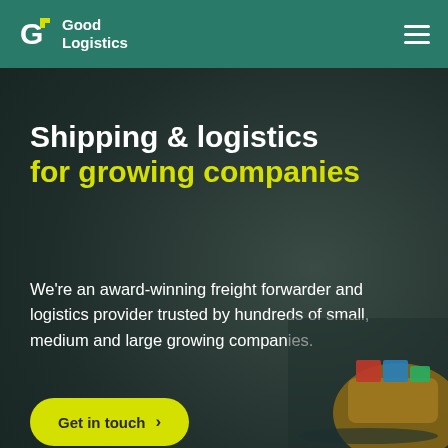Good Logistics
Shipping & logistics for growing companies
We're an award-winning freight forwarder and logistics provider trusted by hundreds of small, medium and large growing companies.
Get in touch >
Why partner with us >